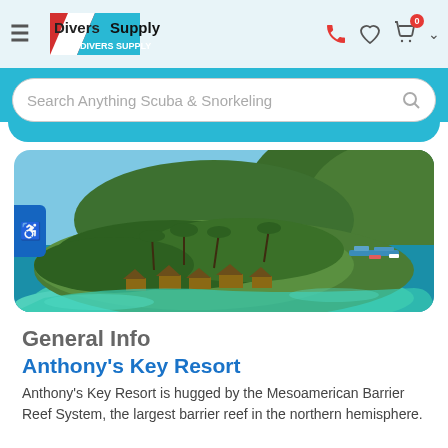Divers Supply — navigation header with hamburger menu, logo, phone, wishlist, cart (0), and chevron icons
Search Anything Scuba & Snorkeling
[Figure (photo): Aerial photograph of Anthony's Key Resort showing a lush tropical island peninsula with thatched-roof bungalows over turquoise water, coconut palms, and a larger forested hill in the background with a marina]
General Info
Anthony's Key Resort
Anthony's Key Resort is hugged by the Mesoamerican Barrier Reef System, the largest barrier reef in the northern hemisphere.